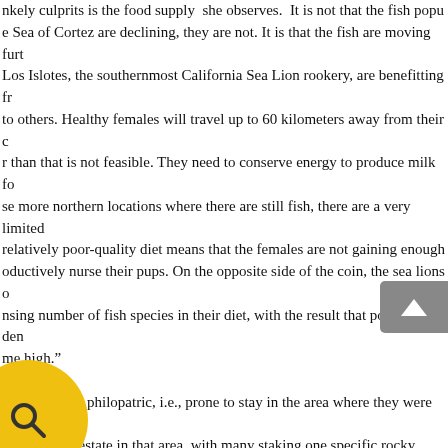nkely culprits is the food supply she observes. It is not that the fish popu e Sea of Cortez are declining, they are not. It is that the fish are moving furth Los Islotes, the southernmost California Sea Lion rookery, are benefitting fro to others. Healthy females will travel up to 60 kilometers away from their c r than that is not feasible. They need to conserve energy to produce milk fo se more northern locations where there are still fish, there are a very limited relatively poor-quality diet means that the females are not gaining enough oductively nurse their pups. On the opposite side of the coin, the sea lions o nsing number of fish species in their diet, with the result that population den me high.” s are not only philopatric, i.e., prone to stay in the area where they were bor specific real estate in that area, with many staking one specific rocky outcro e increasing density of the population at Los Islotes, it is not surprising to lea coming a bit more aggressive. Add to that the fact that the entire colony of f , or b) has newborn pups to defend at exactly the same time and breeding s place June 1 to August 31, becomes a time when human body parts might b e s of Los Islotes. In fact, Los Islotes is now closed to snorkelers an d.